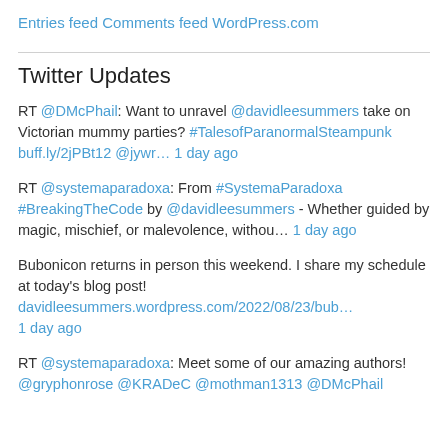Entries feed
Comments feed
WordPress.com
Twitter Updates
RT @DMcPhail: Want to unravel @davidleesummers take on Victorian mummy parties? #TalesofParanormalSteampunk buff.ly/2jPBt12 @jywr… 1 day ago
RT @systemaparadoxa: From #SystemaParadoxa #BreakingTheCode by @davidleesummers - Whether guided by magic, mischief, or malevolence, withou… 1 day ago
Bubonicon returns in person this weekend. I share my schedule at today's blog post! davidleesummers.wordpress.com/2022/08/23/bub… 1 day ago
RT @systemaparadoxa: Meet some of our amazing authors! @gryphonrose @KRADeC @mothman1313 @DMcPhail